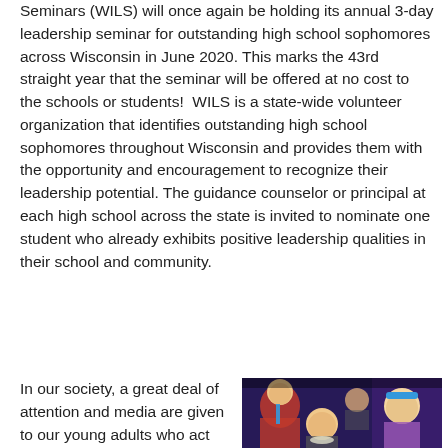Seminars (WILS) will once again be holding its annual 3-day leadership seminar for outstanding high school sophomores across Wisconsin in June 2020. This marks the 43rd straight year that the seminar will be offered at no cost to the schools or students!  WILS is a state-wide volunteer organization that identifies outstanding high school sophomores throughout Wisconsin and provides them with the opportunity and encouragement to recognize their leadership potential. The guidance counselor or principal at each high school across the state is invited to nominate one student who already exhibits positive leadership qualities in their school and community.
In our society, a great deal of attention and media are given to our young adults who act negatively. WILS is set up to provide recognition and growth opportunities to students
[Figure (photo): Group of young people at what appears to be a social event or dance, smiling and posing for the camera. One person wears a red floral shirt, another wears a blue headband. Background shows purple/blue lighting.]